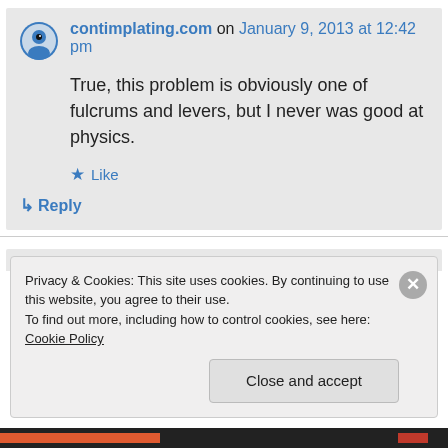contimplating.com on January 9, 2013 at 12:42 pm
True, this problem is obviously one of fulcrums and levers, but I never was good at physics.
★ Like
↳ Reply
Privacy & Cookies: This site uses cookies. By continuing to use this website, you agree to their use.
To find out more, including how to control cookies, see here: Cookie Policy
Close and accept